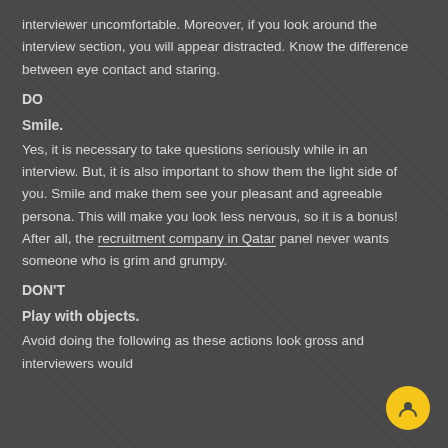interviewer uncomfortable. Moreover, if you look around the interview section, you will appear distracted. Know the difference between eye contact and staring.
DO
Smile.
Yes, it is necessary to take questions seriously while in an interview. But, it is also important to show them the light side of you. Smile and make them see your pleasant and agreeable persona. This will make you look less nervous, so it is a bonus! After all, the recruitment company in Qatar panel never wants someone who is grim and grumpy.
DON'T
Play with objects.
Avoid doing the following as these actions look gross and interviewers would